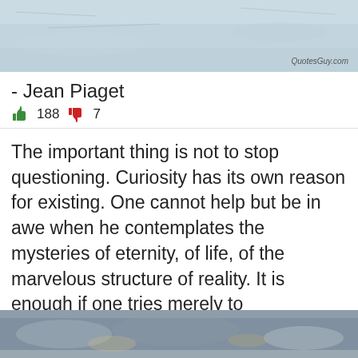[Figure (photo): Blurred outdoor winter/water scene, light grey-blue tones, with watermark 'QuotesGuy.com' in bottom right]
- Jean Piaget
👍 188  👎 7
The important thing is not to stop questioning. Curiosity has its own reason for existing. One cannot help but be in awe when he contemplates the mysteries of eternity, of life, of the marvelous structure of reality. It is enough if one tries merely to comprehend a little of this mystery every day. Never lose a holy curiosity.
[Figure (photo): Blurred close-up of water or wet surface, grey-brown tones, partial view at bottom of page]